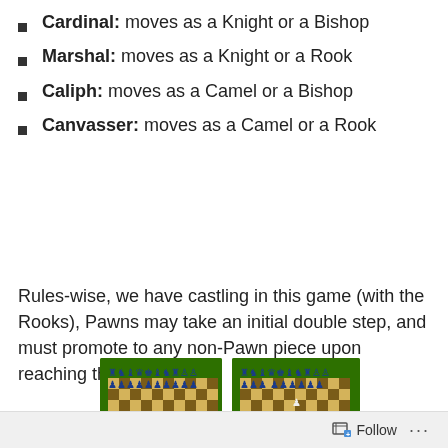Cardinal: moves as a Knight or a Bishop
Marshal: moves as a Knight or a Rook
Caliph: moves as a Camel or a Bishop
Canvasser: moves as a Camel or a Rook
Rules-wise, we have castling in this game (with the Rooks), Pawns may take an initial double step, and must promote to any non-Pawn piece upon reaching the last rank.
[Figure (screenshot): Two chess board screenshots side by side on green background. Left: 'Northern Ecumenical Chess starting position.' Right: 'Northern Ecumenical Chess sample game (213 moves)']
I believe this was one of the first games I added to Ai Ai